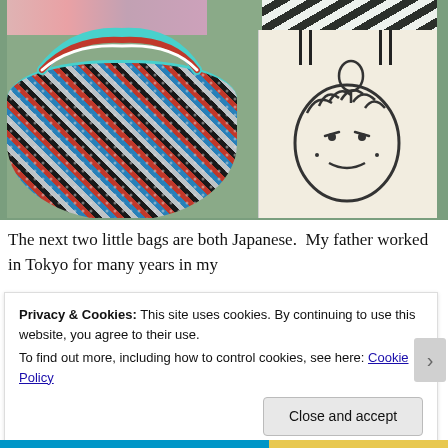[Figure (photo): Photo showing two Japanese bags on a green surface: a colorful beaded/embroidered bag with braided rope handle in red, black, grey, and teal patterns on the left, and a cream-colored shopping bag with a Moomin character face illustration on the right. A black and white leaf-patterned fabric and a pink embroidered bag are also visible in the upper portion.]
The next two little bags are both Japanese.  My father worked in Tokyo for many years in my
Privacy & Cookies: This site uses cookies. By continuing to use this website, you agree to their use.
To find out more, including how to control cookies, see here: Cookie Policy
Close and accept